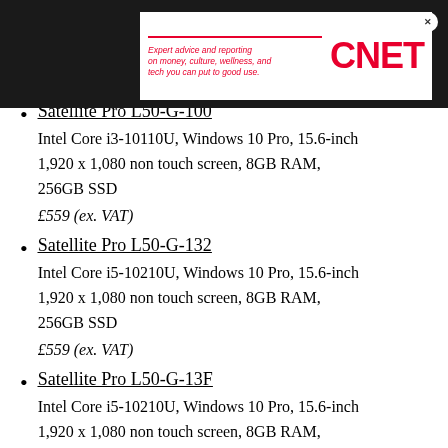[Figure (other): CNET advertisement banner with tagline 'Expert advice and reporting on money, culture, wellness, and tech you can put to good use.' and CNET logo in red]
Satellite Pro L50-G-100
Intel Core i3-10110U, Windows 10 Pro, 15.6-inch 1,920 x 1,080 non touch screen, 8GB RAM, 256GB SSD
£559 (ex. VAT)
Satellite Pro L50-G-132
Intel Core i5-10210U, Windows 10 Pro, 15.6-inch 1,920 x 1,080 non touch screen, 8GB RAM, 256GB SSD
£559 (ex. VAT)
Satellite Pro L50-G-13F
Intel Core i5-10210U, Windows 10 Pro, 15.6-inch 1,920 x 1,080 non touch screen, 8GB RAM, 256GB SSD